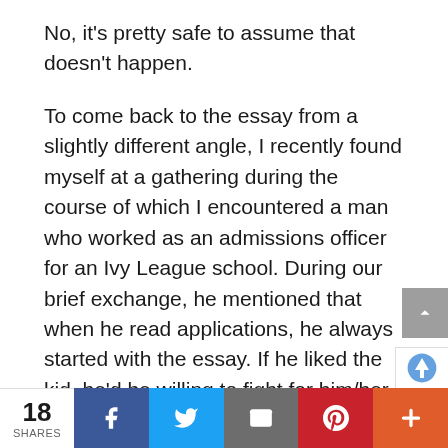No, it's pretty safe to assume that doesn't happen.
To come back to the essay from a slightly different angle, I recently found myself at a gathering during the course of which I encountered a man who worked as an admissions officer for an Ivy League school. During our brief exchange, he mentioned that when he read applications, he always started with the essay. If he liked the kid, he'd be willing to fight for him/her in committee; if not, h
18 SHARES | Facebook | Twitter | Email | Pinterest | More